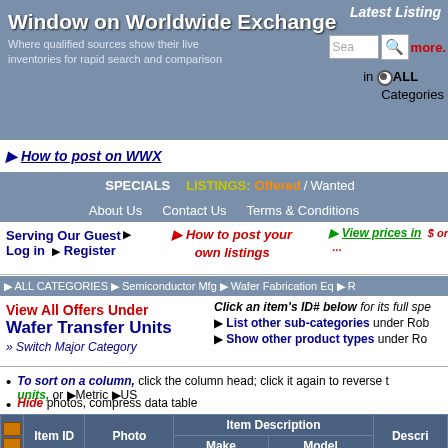Window on Worldwide Exchange — Where qualified sources show their live inventories for rapid search and comparison
Latest Listing
more.
in ALL Categories
How to post on WWX
SPECIALS   LISTINGS: Offered / Wanted   About Us   Contact Us   Terms & Conditions
Serving Our Guest ▶   How to post your own listings   View prices in $ or ...
Log in ▶ Register
ALL CATEGORIES ▶ Semiconductor Mfg ▶ Wafer Fabrication Eq ▶ R
View All Offers Under Wafer Transfer Units
» Switch Major Category
Click an item's ID# below for its full spe
List other sub-categories under Rob
Show other product types under Ro
To sort on a column, click the column head; click it again to reverse the sort. View prices in your choice of units, or ▶Metric ▶US
Hide photos, compress data table
| Item ID | Photo | Make | Model | Description |
| --- | --- | --- | --- | --- |
| 178844 | (photo) | Asyst Technologies | 300FL,S3,25WFR | SMIF LO PORT--3 |